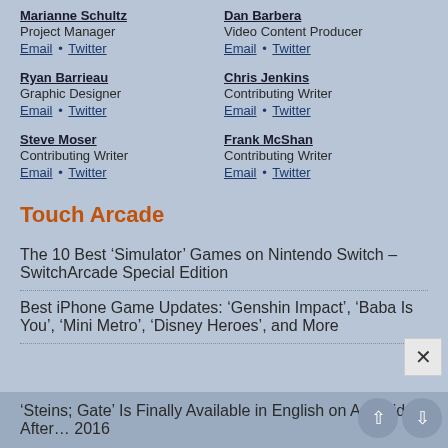Marianne Schultz
Project Manager
Email • Twitter
Dan Barbera
Video Content Producer
Email • Twitter
Ryan Barrieau
Graphic Designer
Email • Twitter
Chris Jenkins
Contributing Writer
Email • Twitter
Steve Moser
Contributing Writer
Email • Twitter
Frank McShan
Contributing Writer
Email • Twitter
Touch Arcade
The 10 Best ‘Simulator’ Games on Nintendo Switch – SwitchArcade Special Edition
Best iPhone Game Updates: ‘Genshin Impact’, ‘Baba Is You’, ‘Mini Metro’, ‘Disney Heroes’, and More
‘Steins; Gate’ Is Finally Available in English on Android After… 2016